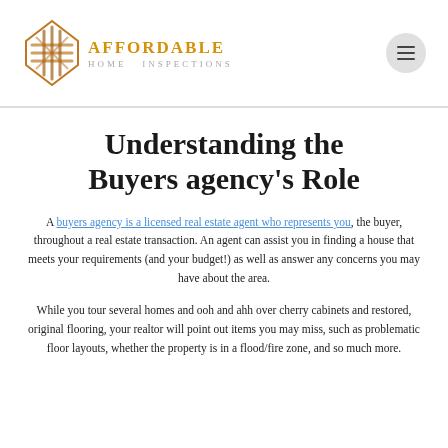Affordable [logo] — navigation menu button
Understanding the Buyers agency's Role
A buyers agency is a licensed real estate agent who represents you, the buyer, throughout a real estate transaction. An agent can assist you in finding a house that meets your requirements (and your budget!) as well as answer any concerns you may have about the area.
While you tour several homes and ooh and ahh over cherry cabinets and restored, original flooring, your realtor will point out items you may miss, such as problematic floor layouts, whether the property is in a flood/fire zone, and so much more.